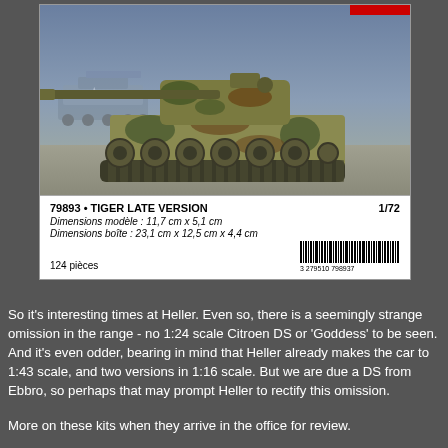[Figure (photo): Model kit box top showing a painted Tiger tank (late version) in camouflage colors on a battlefield background. Box label reads: 79893 • TIGER LATE VERSION, 1/72, Dimensions modele: 11,7 cm x 5,1 cm, Dimensions boite: 23,1 cm x 12,5 cm x 4,4 cm, 124 pieces, with barcode 3 279510 798937]
So it's interesting times at Heller. Even so, there is a seemingly strange omission in the range - no 1:24 scale Citroen DS or 'Goddess' to be seen. And it's even odder, bearing in mind that Heller already makes the car to 1:43 scale, and two versions in 1:16 scale. But we are due a DS from Ebbro, so perhaps that may prompt Heller to rectify this omission.
More on these kits when they arrive in the office for review.